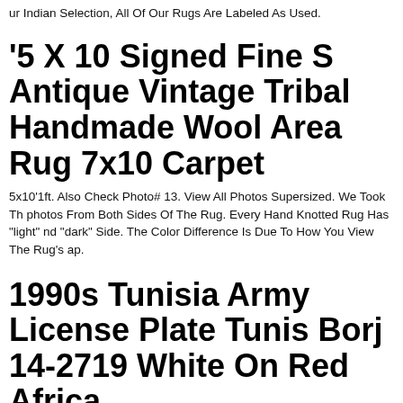ur Indian Selection, All Of Our Rugs Are Labeled As Used.
'5 X 10 Signed Fine S Antique Vintage Tribal Handmade Wool Area Rug 7x10 Carpet
5x10'1ft. Also Check Photo# 13. View All Photos Supersized. We Took Th photos From Both Sides Of The Rug. Every Hand Knotted Rug Has "light" nd "dark" Side. The Color Difference Is Due To How You View The Rug's ap.
1990s Tunisia Army License Plate Tunis Borj 14-2719 White On Red Africa
990s Or 2000s, Army Issue. Stencil Painted On The Back Of A French assenger Plate. Fresh Out Of The Barn! Always Wear Your Seatbelt.